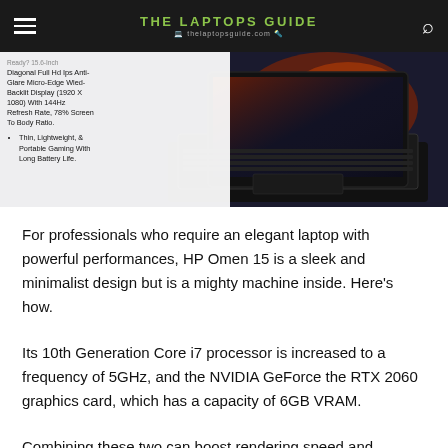THE LAPTOPS GUIDE
[Figure (photo): HP Omen 15 gaming laptop shown partially open on a desk, with an overlay card on the left showing product specs including Full HD IPS display, 144Hz refresh rate, and thin lightweight design.]
For professionals who require an elegant laptop with powerful performances, HP Omen 15 is a sleek and minimalist design but is a mighty machine inside. Here's how.
Its 10th Generation Core i7 processor is increased to a frequency of 5GHz, and the NVIDIA GeForce the RTX 2060 graphics card, which has a capacity of 6GB VRAM.
Combining these two can boost rendering speed and increase gaming performance (even try it with a more frame rate). THis is one of the best laptops for game development.